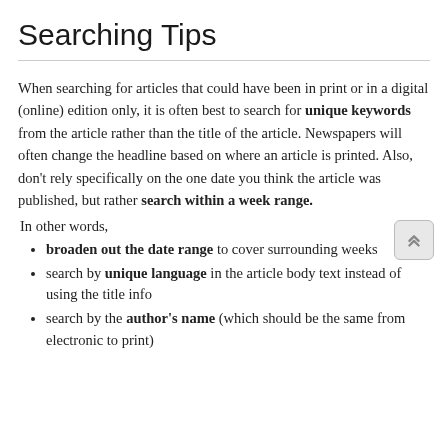Searching Tips
When searching for articles that could have been in print or in a digital (online) edition only, it is often best to search for unique keywords from the article rather than the title of the article. Newspapers will often change the headline based on where an article is printed. Also, don't rely specifically on the one date you think the article was published, but rather search within a week range.
In other words,
broaden out the date range to cover surrounding weeks
search by unique language in the article body text instead of using the title info
search by the author's name (which should be the same from electronic to print)